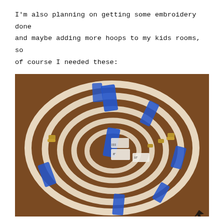I'm also planning on getting some embroidery done and maybe adding more hoops to my kids rooms, so of course I needed these:
[Figure (photo): A set of multiple circular embroidery hoops of different sizes, nested concentrically and stacked flat on a wooden table. The hoops are cream/beige colored with gold metal screw fittings, and are held together with blue tape strips. Price tags are visible on some hoops.]